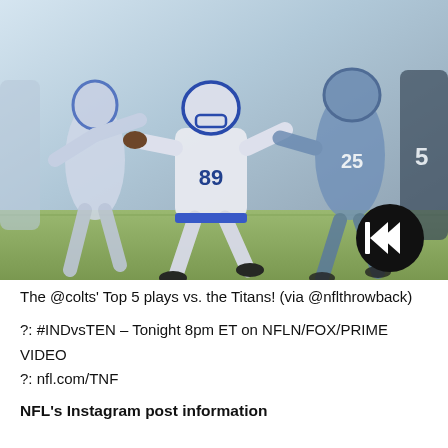[Figure (photo): NFL throwback action photo showing Colts player number 89 running with the ball against Titans defenders on a football field. A round black NFL shield/rewind button overlay appears in the bottom right corner of the image.]
The @colts' Top 5 plays vs. the Titans! (via @nflthrowback)
?: #INDvsTEN – Tonight 8pm ET on NFLN/FOX/PRIME VIDEO
?: nfl.com/TNF
NFL's Instagram post information